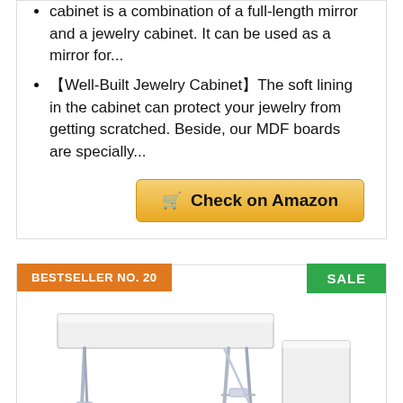cabinet is a combination of a full-length mirror and a jewelry cabinet. It can be used as a mirror for...
【Well-Built Jewelry Cabinet】The soft lining in the cabinet can protect your jewelry from getting scratched. Beside, our MDF boards are specially...
[Figure (screenshot): Check on Amazon button with shopping cart icon, gold/yellow gradient background]
BESTSELLER NO. 20
[Figure (photo): Folding table product photo showing a white rectangular table with adjustable metal legs, shown assembled and folded/carried]